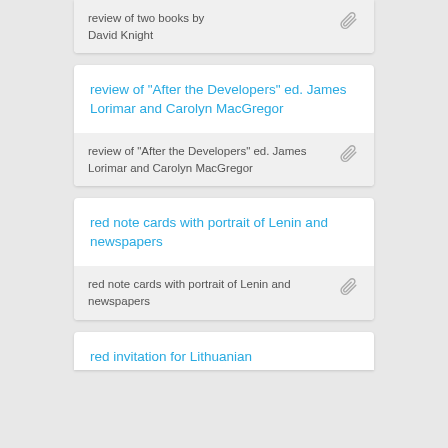review of two books by David Knight
review of "After the Developers" ed. James Lorimar and Carolyn MacGregor
review of "After the Developers" ed. James Lorimar and Carolyn MacGregor
red note cards with portrait of Lenin and newspapers
red note cards with portrait of Lenin and newspapers
red invitation for Lithuanian